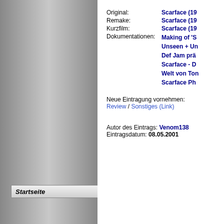Startseite
Erweiterte Suche
Neue Einträge
Ranglisten
Statistiken
Kinostarts
Disc-Area
Web-TV
Original: Scarface (19...
Remake: Scarface (19...
Kurzfilm: Scarface (19...
Dokumentationen: Making of 'S... / Unseen + Un... / Def Jam prä... / Scarface - D... / Welt von Ton... / Scarface Ph...
Neue Eintragung vornehmen:
Review / Sonstiges (Link)
Autor des Eintrags: Venom138
Eintragsdatum: 08.05.2001
Copyright © 19...
Nutzungsbed...